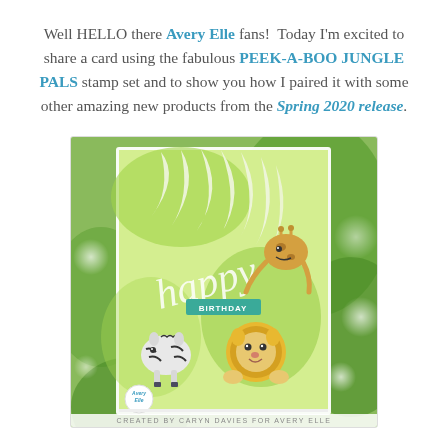Well HELLO there Avery Elle fans!  Today I'm excited to share a card using the fabulous PEEK-A-BOO JUNGLE PALS stamp set and to show you how I paired it with some other amazing new products from the Spring 2020 release.
[Figure (photo): A handmade birthday card with a green jungle/tropical background featuring palm frond die cuts, the word 'happy' in white script, a 'BIRTHDAY' banner in teal, and three cute cartoon animals: a giraffe (top right), a zebra (bottom left), and a lion (bottom right). The card is photographed against a blurred green plant background with bokeh lighting. A logo badge for Avery Elle appears in the bottom left corner. Caption reads: CREATED BY CARYN DAVIES FOR AVERY ELLE.]
CREATED BY CARYN DAVIES FOR AVERY ELLE